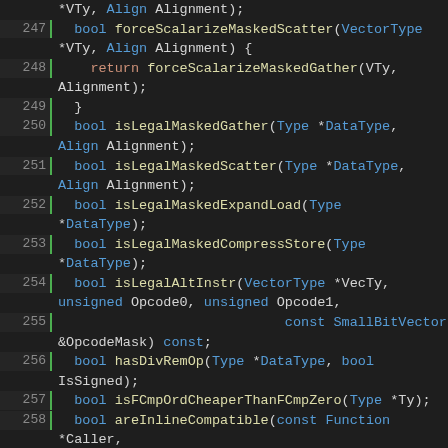[Figure (screenshot): Source code viewer showing C++ code lines 247-265, with syntax highlighting. Dark background with green line number gutter, blue/teal/orange/yellow syntax colors.]